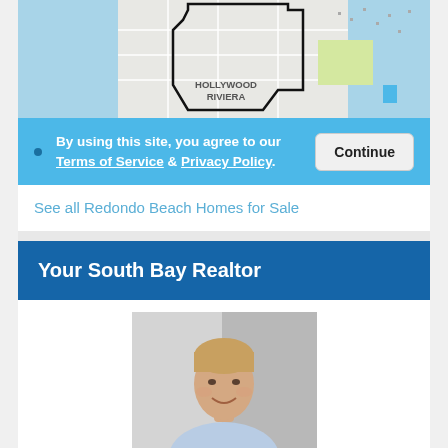[Figure (map): Map showing Hollywood Riviera neighborhood area with street layout and boundary outline.]
By using this site, you agree to our Terms of Service & Privacy Policy.
Continue
See all Redondo Beach Homes for Sale
Your South Bay Realtor
[Figure (photo): Professional headshot photo of a male realtor with blonde hair, smiling, wearing a light blue shirt.]